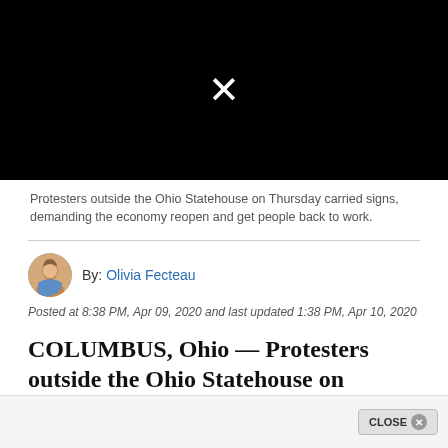[Figure (screenshot): Black video player with white X close button in center]
Protesters outside the Ohio Statehouse on Thursday carried signs, demanding the economy reopen and get people back to work.
By: Olivia Fecteau
Posted at 8:38 PM, Apr 09, 2020 and last updated 1:38 PM, Apr 10, 2020
COLUMBUS, Ohio — Protesters outside the Ohio Statehouse on Thursday carried signs, demanding